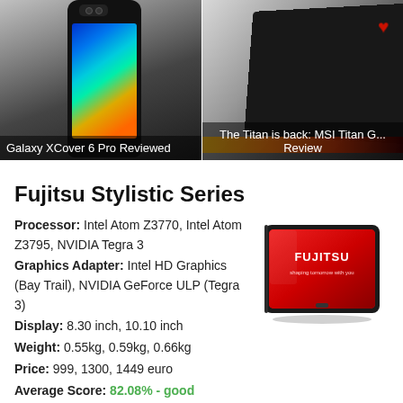[Figure (photo): Two product photos side by side: left shows Samsung Galaxy XCover 6 Pro smartphone with colorful screen, right shows MSI Titan GT laptop from back angle with red logo]
Galaxy XCover 6 Pro Reviewed
The Titan is back: MSI Titan G... Review
Fujitsu Stylistic Series
Processor: Intel Atom Z3770, Intel Atom Z3795, NVIDIA Tegra 3
Graphics Adapter: Intel HD Graphics (Bay Trail), NVIDIA GeForce ULP (Tegra 3)
Display: 8.30 inch, 10.10 inch
Weight: 0.55kg, 0.59kg, 0.66kg
Price: 999, 1300, 1449 euro
Average Score: 82.08% - good
[Figure (photo): Fujitsu Stylistic tablet with red screen showing Fujitsu logo, displayed at an angle]